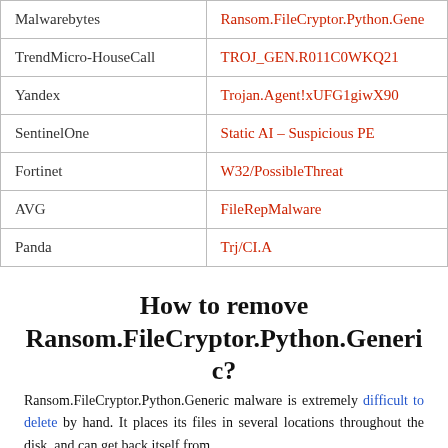| Antivirus | Detection |
| --- | --- |
| Malwarebytes | Ransom.FileCryptor.Python.Gene... |
| TrendMicro-HouseCall | TROJ_GEN.R011C0WKQ21 |
| Yandex | Trojan.Agent!xUFG1giwX90 |
| SentinelOne | Static AI – Suspicious PE |
| Fortinet | W32/PossibleThreat |
| AVG | FileRepMalware |
| Panda | Trj/CI.A |
How to remove Ransom.FileCryptor.Python.Generic?
Ransom.FileCryptor.Python.Generic malware is extremely difficult to delete by hand. It places its files in several locations throughout the disk, and can get back itself from